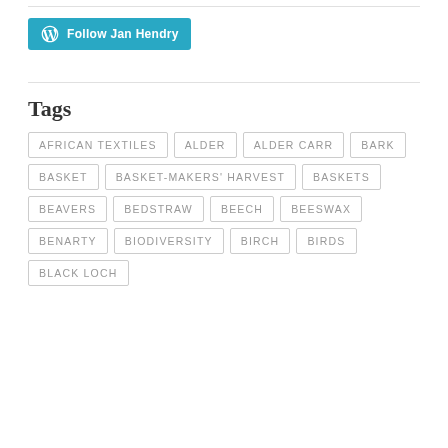[Figure (other): WordPress Follow Jan Hendry button with cyan background and WordPress logo icon]
Tags
AFRICAN TEXTILES
ALDER
ALDER CARR
BARK
BASKET
BASKET-MAKERS' HARVEST
BASKETS
BEAVERS
BEDSTRAW
BEECH
BEESWAX
BENARTY
BIODIVERSITY
BIRCH
BIRDS
BLACK LOCH